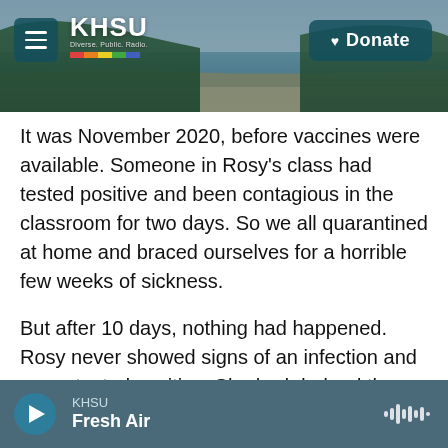[Figure (screenshot): KHSU public radio website header with coastal beach/forest background image, hamburger menu button on left, KHSU logo with rainbow graphic, and teal Donate button with heart icon on right.]
It was November 2020, before vaccines were available. Someone in Rosy's class had tested positive and been contagious in the classroom for two days. So we all quarantined at home and braced ourselves for a horrible few weeks of sickness.
But after 10 days, nothing had happened. Rosy never showed signs of an infection and never tested positive. She had dodged the coronavirus.
Then about 10 months later, the same thing happened. And again two weeks later. And four
KHSU — Fresh Air (audio player)